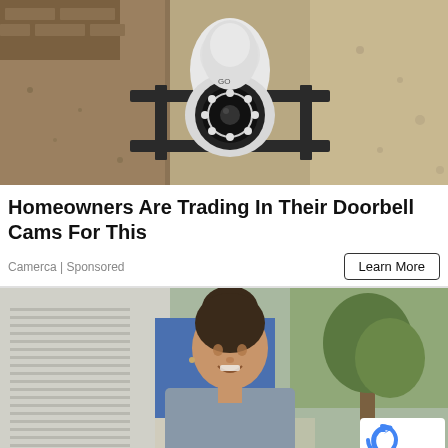[Figure (photo): Security camera mounted on a dark metal bracket on a textured stucco wall. The camera is white with a circular lens ring with LED lights.]
Homeowners Are Trading In Their Doorbell Cams For This
Camerca | Sponsored
[Figure (photo): A smiling young woman with dark hair in a bun, wearing a light blue top, standing outdoors near trees and a building. A reCAPTCHA badge is visible in the bottom right corner.]